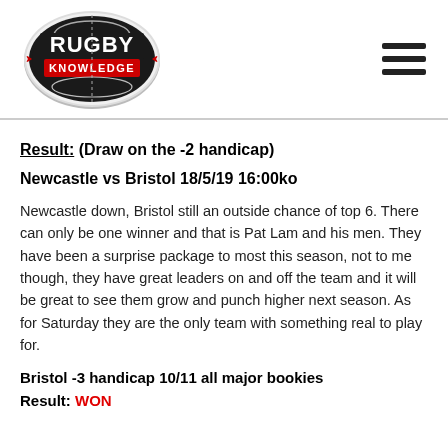[Figure (logo): Rugby Knowledge logo - rugby ball shaped logo with RUGBY in white bold text on black background and KNOWLEDGE in white text on red banner, with silver/white ball surround]
Result: (Draw on the -2 handicap)
Newcastle vs Bristol 18/5/19 16:00ko
Newcastle down, Bristol still an outside chance of top 6. There can only be one winner and that is Pat Lam and his men. They have been a surprise package to most this season, not to me though, they have great leaders on and off the team and it will be great to see them grow and punch higher next season. As for Saturday they are the only team with something real to play for.
Bristol -3 handicap 10/11 all major bookies
Result: WON